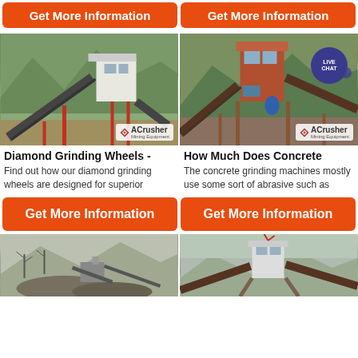[Figure (other): Orange 'Get More Information' button (left), top of page]
[Figure (other): Orange 'Get More Information' button (right), top of page]
[Figure (photo): Industrial crushing/grinding plant with conveyor belts and elevated control room, ACrusher branding, left column]
[Figure (photo): Industrial crushing plant with orange/rust-colored tower structure, ACrusher branding and Live Chat bubble, right column]
Diamond Grinding Wheels -
Find out how our diamond grinding wheels are designed for superior
How Much Does Concrete
The concrete grinding machines mostly use some sort of abrasive such as
[Figure (other): Orange 'Get More Information' button (left), middle of page]
[Figure (other): Orange 'Get More Information' button (right), middle of page]
[Figure (photo): Industrial mining/crushing site with machinery and rock piles, left column bottom]
[Figure (photo): Industrial crushing plant with elevated structure and conveyor belts, right column bottom]